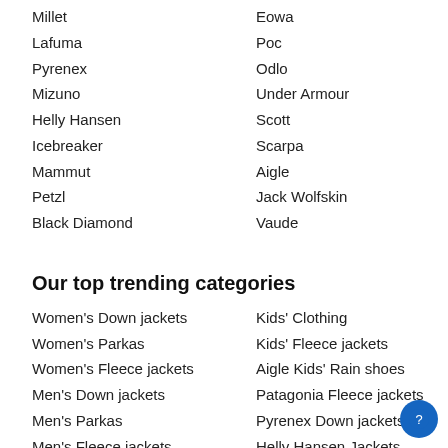Millet
Eowa
Lafuma
Poc
Pyrenex
Odlo
Mizuno
Under Armour
Helly Hansen
Scott
Icebreaker
Scarpa
Mammut
Aigle
Petzl
Jack Wolfskin
Black Diamond
Vaude
Our top trending categories
Women's Down jackets
Kids' Clothing
Women's Parkas
Kids' Fleece jackets
Women's Fleece jackets
Aigle Kids' Rain shoes
Men's Down jackets
Patagonia Fleece jackets
Men's Parkas
Pyrenex Down jackets
Men's Fleece jackets
Helly Hansen Jackets
Tents
Columbia Fleece jackets